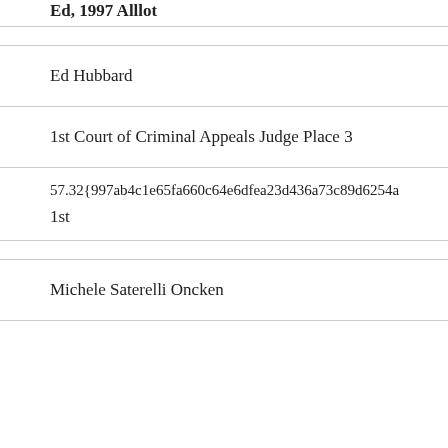Ed Hubbard
1st Court of Criminal Appeals Judge Place 3
57.32{997ab4c1e65fa660c64e6dfea23d436a73c89d6254a
1st
Michele Saterelli Oncken